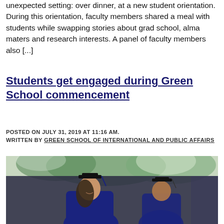unexpected setting: over dinner, at a new student orientation. During this orientation, faculty members shared a meal with students while swapping stories about grad school, alma maters and research interests. A panel of faculty members also [...]
Students get engaged during Green School commencement
POSTED ON JULY 31, 2019 AT 11:16 AM.
WRITTEN BY GREEN SCHOOL OF INTERNATIONAL AND PUBLIC AFFAIRS
[Figure (photo): Photo of graduates in blue caps and gowns at a commencement ceremony, outdoors with trees in the background.]